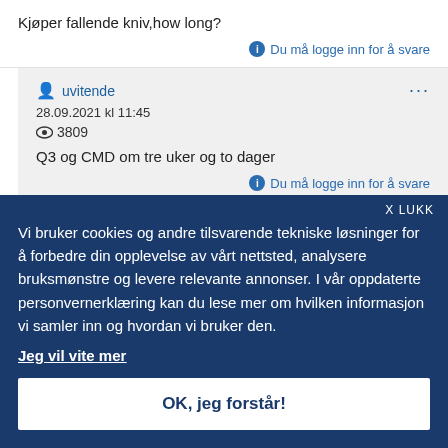Kjøper fallende kniv,how long?
Du må logge inn for å svare
uvitende
28.09.2021 kl 11:45
3809
Q3 og CMD om tre uker og to dager
Du må logge inn for å svare
omone
Vi bruker cookies og andre tilsvarende tekniske løsninger for å forbedre din opplevelse av vårt nettsted, analysere bruksmønstre og levere relevante annonser. I vår oppdaterte personvernerklæring kan du lese mer om hvilken informasjon vi samler inn og hvordan vi bruker den.
Jeg vil vite mer
OK, jeg forstår!